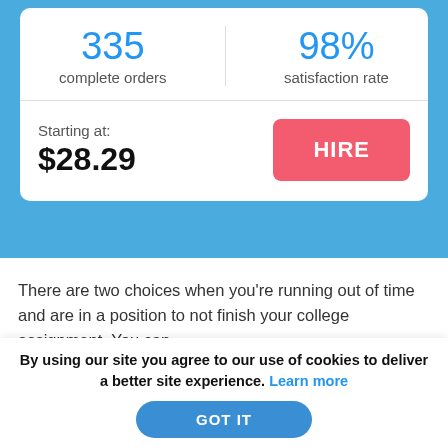335 complete orders
98% satisfaction rate
Starting at: $28.29
HIRE
There are two choices when you're running out of time and are in a position to not finish your college assignment. You can
By using our site you agree to our use of cookies to deliver a better site experience. Learn more
GOT IT